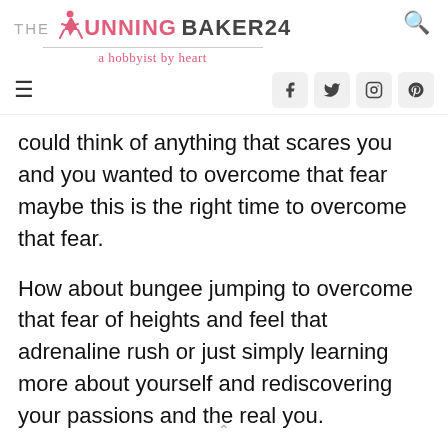THE RUNNING BAKER24 — a hobbyist by heart
could think of anything that scares you and you wanted to overcome that fear maybe this is the right time to overcome that fear.
How about bungee jumping to overcome that fear of heights and feel that adrenaline rush or just simply learning more about yourself and rediscovering your passions and the real you.